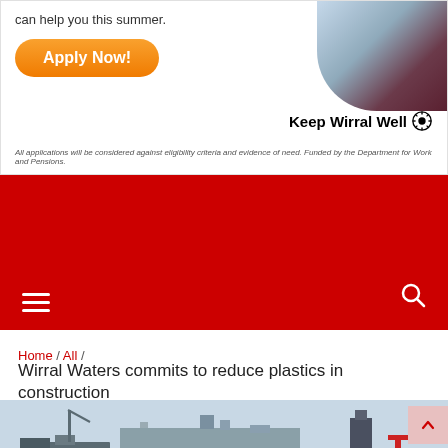[Figure (infographic): Advertisement banner for Keep Wirral Well with Apply Now button, person photo, and footnote text]
can help you this summer.
Apply Now!
Keep Wirral Well
All applications will be considered against eligibility criteria and evidence of need. Funded by the Department for Work and Pensions.
[Figure (screenshot): Red navigation bar with hamburger menu icon on the left and search icon on the right]
Home / All /
Wirral Waters commits to reduce plastics in construction
[Figure (photo): Aerial photograph of Wirral Waters dockland area showing waterway, cranes, buildings and urban landscape]